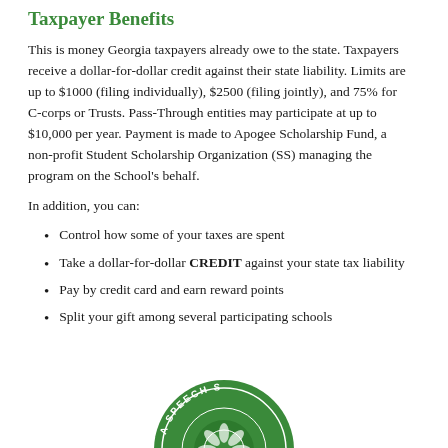Taxpayer Benefits
This is money Georgia taxpayers already owe to the state. Taxpayers receive a dollar-for-dollar credit against their state liability. Limits are up to $1000 (filing individually), $2500 (filing jointly), and 75% for C-corps or Trusts. Pass-Through entities may participate at up to $10,000 per year. Payment is made to Apogee Scholarship Fund, a non-profit Student Scholarship Organization (SS) managing the program on the School's behalf.
In addition, you can:
Control how some of your taxes are spent
Take a dollar-for-dollar CREDIT against your state tax liability
Pay by credit card and earn reward points
Split your gift among several participating schools
[Figure (logo): Circular green logo with text 'A SPEECH S...' around the border and decorative design in center]